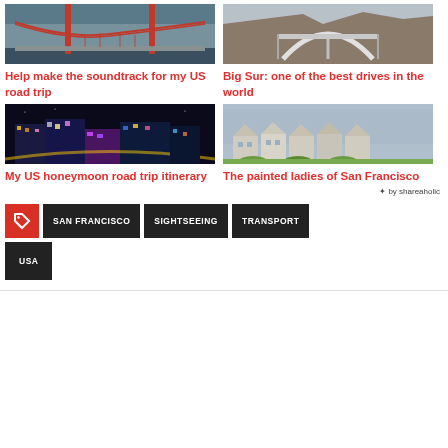[Figure (photo): Golden Gate Bridge in fog, aerial view]
[Figure (photo): Bixby Creek Bridge at Big Sur, coastal arch bridge]
Help make the soundtrack for my US road trip
Big Sur: one of the best drives in the world
[Figure (photo): Las Vegas Strip at night, aerial view of casinos and lights]
[Figure (photo): Painted Ladies Victorian houses in San Francisco with city skyline]
My US honeymoon road trip itinerary
The painted ladies of San Francisco
✦ by shareaholic
SAN FRANCISCO
SIGHTSEEING
TRANSPORT
USA